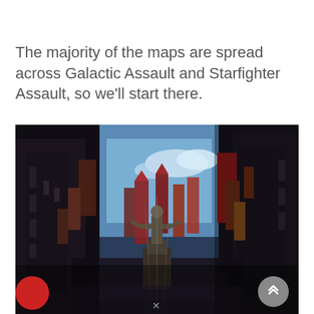The majority of the maps are spread across Galactic Assault and Starfighter Assault, so we'll start there.
[Figure (photo): In-game screenshot from a Star Wars video game showing a dramatic low-angle view of a bustling alien marketplace or city street, with tall ornate buildings on both sides, numerous colorful banners and flags hanging overhead, and a central statue of a figure with arms raised, against a blue sky with clouds.]